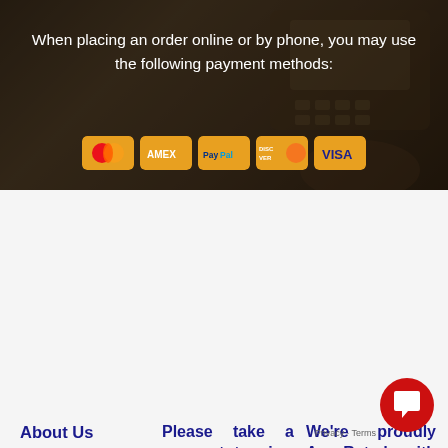[Figure (photo): Payment terminal/card reader with dark overlay background]
When placing an order online or by phone, you may use the following payment methods:
[Figure (infographic): Payment method icons: Mastercard, American Express, PayPal, Discover, Visa]
About Us
Our Credit Card Consolidation, Medical Debt Consolidation,
Please take a moment to view our
Frequently Asked Questions
We're proudly A+ Rated with the Google Star R...